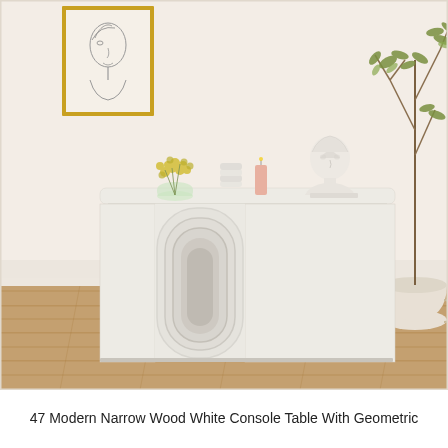[Figure (photo): A modern white console table with geometric arch/oval decorative panel base, placed against a white wall with warm wood flooring. Items on top include a glass vase with yellow flowers, stacked white cylindrical objects, a pink candle, and a white classical bust sculpture. A framed line-art portrait hangs on the wall to the upper left, and a potted tree is visible at the upper right.]
47 Modern Narrow Wood White Console Table With Geometric